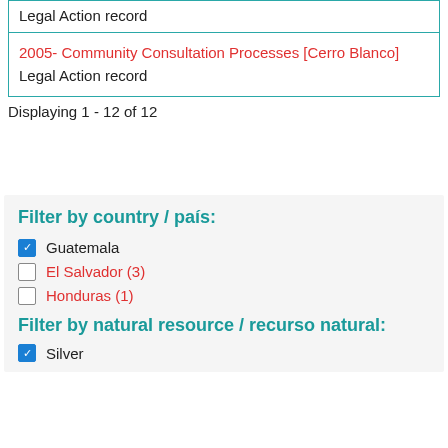Legal Action record
2005- Community Consultation Processes [Cerro Blanco]
Legal Action record
Displaying 1 - 12 of 12
Filter by country / país:
Guatemala (checked)
El Salvador (3)
Honduras (1)
Filter by natural resource / recurso natural:
Silver (checked)